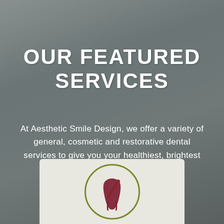OUR FEATURED SERVICES
At Aesthetic Smile Design, we offer a variety of general, cosmetic and restorative dental services to give you your healthiest, brightest smile.
[Figure (illustration): A circular icon with an olive/dark green border containing a dark maroon/burgundy stylized tooth with a dental drill or tool, on a light gray card background partially visible at the bottom of the page.]